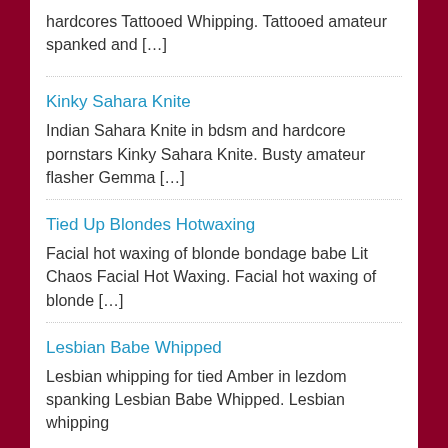hardcores Tattooed Whipping. Tattooed amateur spanked and […]
Kinky Sahara Knite
Indian Sahara Knite in bdsm and hardcore pornstars Kinky Sahara Knite. Busty amateur flasher Gemma […]
Tied Up Blondes Hotwaxing
Facial hot waxing of blonde bondage babe Lit Chaos Facial Hot Waxing. Facial hot waxing of blonde […]
Lesbian Babe Whipped
Lesbian whipping for tied Amber in lezdom spanking Lesbian Babe Whipped. Lesbian whipping